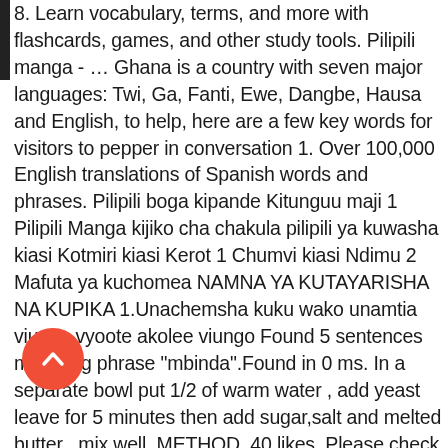8. Learn vocabulary, terms, and more with flashcards, games, and other study tools. Pilipili manga - … Ghana is a country with seven major languages: Twi, Ga, Fanti, Ewe, Dangbe, Hausa and English, to help, here are a few key words for visitors to pepper in conversation 1. Over 100,000 English translations of Spanish words and phrases. Pilipili boga kipande Kitunguu maji 1 Pilipili Manga kijiko cha chakula pilipili ya kuwasha kiasi Kotmiri kiasi Kerot 1 Chumvi kiasi Ndimu 2 Mafuta ya kuchomea NAMNA YA KUTAYARISHA NA KUPIKA 1.Unachemsha kuku wako unamtia viungo vyoote akolee viungo Found 5 sentences matching phrase "mbinda".Found in 0 ms. In a separate bowl put 1/2 of warm water , add yeast leave for 5 minutes then add sugar,salt and melted butter , mix well. METHOD. 40 likes. Please check back once the song has been released. More on Genius "U Boga Verujem" Track Info. Information and translations of BOGA in the most comprehensive dictionary definitions
[Figure (illustration): A circular red back/up button with a white chevron (up arrow) icon, positioned in the lower left of the page.]